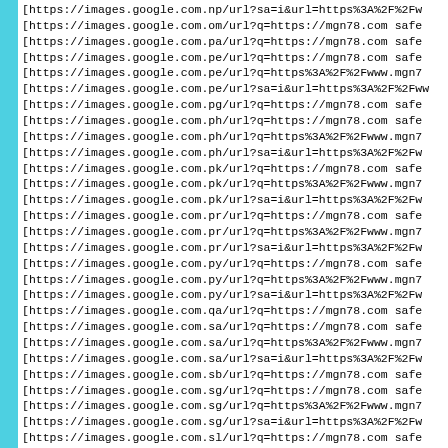[https://images.google.com.np/url?sa=i&url=https%3A%2F%2Fw
[https://images.google.com.om/url?q=https://mgn78.com safe
[https://images.google.com.pa/url?q=https://mgn78.com safe
[https://images.google.com.pe/url?q=https://mgn78.com safe
[https://images.google.com.pe/url?q=https%3A%2F%2Fwww.mgn7
[https://images.google.com.pe/url?sa=i&url=https%3A%2F%2Fww
[https://images.google.com.pg/url?q=https://mgn78.com safe
[https://images.google.com.ph/url?q=https://mgn78.com safe
[https://images.google.com.ph/url?q=https%3A%2F%2Fwww.mgn7
[https://images.google.com.ph/url?sa=i&url=https%3A%2F%2Fw
[https://images.google.com.pk/url?q=https://mgn78.com safe
[https://images.google.com.pk/url?q=https%3A%2F%2Fwww.mgn7
[https://images.google.com.pk/url?sa=i&url=https%3A%2F%2Fw
[https://images.google.com.pr/url?q=https://mgn78.com safe
[https://images.google.com.pr/url?q=https%3A%2F%2Fwww.mgn7
[https://images.google.com.pr/url?sa=i&url=https%3A%2F%2Fw
[https://images.google.com.py/url?q=https://mgn78.com safe
[https://images.google.com.py/url?q=https%3A%2F%2Fwww.mgn7
[https://images.google.com.py/url?sa=i&url=https%3A%2F%2Fw
[https://images.google.com.qa/url?q=https://mgn78.com safe
[https://images.google.com.sa/url?q=https://mgn78.com safe
[https://images.google.com.sa/url?q=https%3A%2F%2Fwww.mgn7
[https://images.google.com.sa/url?sa=i&url=https%3A%2F%2Fw
[https://images.google.com.sb/url?q=https://mgn78.com safe
[https://images.google.com.sg/url?q=https://mgn78.com safe
[https://images.google.com.sg/url?q=https%3A%2F%2Fwww.mgn7
[https://images.google.com.sg/url?sa=i&url=https%3A%2F%2Fw
[https://images.google.com.sl/url?q=https://mgn78.com safe
[https://images.google.com.sv/url?q=https://mgn78.com safe
[https://images.google.com.sv/url?q=https%3A%2F%2Fwww.mgn7